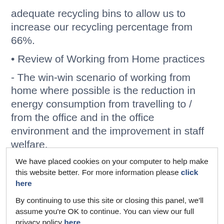adequate recycling bins to allow us to increase our recycling percentage from 66%.
• Review of Working from Home practices
- The win-win scenario of working from home where possible is the reduction in energy consumption from travelling to / from the office and in the office environment and the improvement in staff welfare.
• Photovoltaic Energy Production
- A feasibility study is to commence in Jan 2021
We have placed cookies on your computer to help make this website better. For more information please click here
By continuing to use this site or closing this panel, we'll assume you're OK to continue. You can view our full privacy policy here
Close